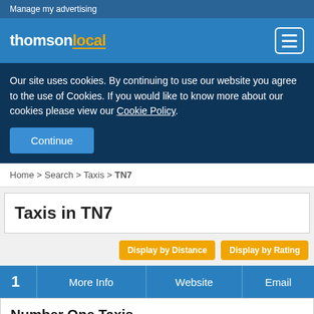Manage my advertising
[Figure (logo): Thomson Local logo with menu/hamburger icon on right]
Our site uses cookies. By continuing to use our website you agree to the use of Cookies. If you would like to know more about our cookies please view our Cookie Policy.
Continue
Home > Search > Taxis > TN7
Taxis in TN7
Display by Distance   Display by Rating
| 1 | More Info | Website | Email |
| --- | --- | --- | --- |
Number One Taxis
Local Taxis in TN7